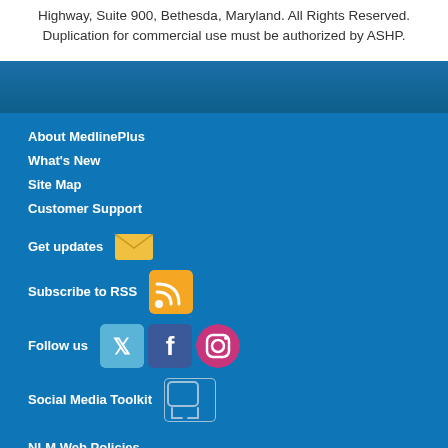Highway, Suite 900, Bethesda, Maryland. All Rights Reserved. Duplication for commercial use must be authorized by ASHP.
About MedlinePlus
What's New
Site Map
Customer Support
Get updates
Subscribe to RSS
Follow us
Social Media Toolkit
NLM Web Policies
Copyright
Accessibility